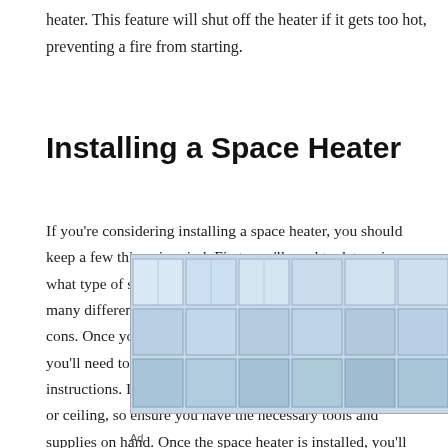heater. This feature will shut off the heater if it gets too hot, preventing a fire from starting.
Installing a Space Heater
If you're considering installing a space heater, you should keep a few things in mind. First, you'll need to determine what type of space heater is best for your needs. There are many different types of space heaters, each with pros and cons. Once you've selected the correct type of space heater, you'll need to install it according to the manufacturer's instructions. It usually involves mounting the heater to a wall or ceiling, so ensure you have the necessary tools and supplies on hand. Once the space heater is installed, you'll need to test it to ensure it's working correctly.
[Figure (photo): Advertisement image showing rows of large industrial water storage tanks/containers in a warehouse or storage facility. Includes 'Contact Us Today' call-to-action text in blue with navigation icons.]
Ad